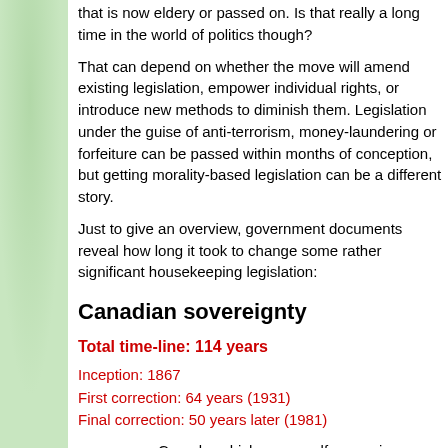that is now eldery or passed on. Is that really a long time in the world of politics though?
That can depend on whether the move will amend existing legislation, empower individual rights, or introduce new methods to diminish them. Legislation under the guise of anti-terrorism, money-laundering or forfeiture can be passed within months of conception, but getting morality-based legislation can be a different story.
Just to give an overview, government documents reveal how long it took to change some rather significant housekeeping legislation:
Canadian sovereignty
Total time-line: 114 years
Inception: 1867
First correction: 64 years (1931)
Final correction: 50 years later (1981)
Canada, which was a self-governing colony in 1867, achieved legal independence with the Statute of Westminster in 1931. The Constitution of 1867 had a serious omission: it contained no general formula for constitutional amendment. It was necessary to ask the British Parliament to take action each time an amendment was needed.